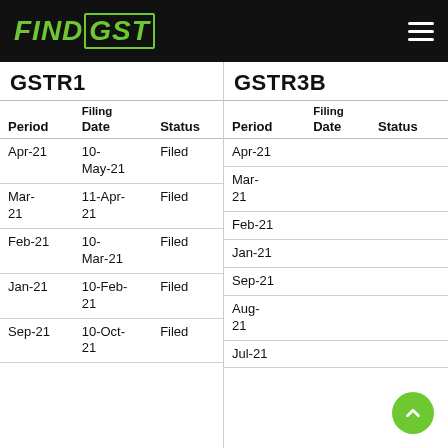FINDGST
GSTR1
| Period | Filing Date | Status |
| --- | --- | --- |
| Apr-21 | 10-May-21 | Filed |
| Mar-21 | 11-Apr-21 | Filed |
| Feb-21 | 10-Mar-21 | Filed |
| Jan-21 | 10-Feb-21 | Filed |
| Sep-21 | 10-Oct-21 | Filed |
GSTR3B
| Period | Filing Date | Status |
| --- | --- | --- |
| Apr-21 |  |  |
| Mar-21 |  |  |
| Feb-21 |  |  |
| Jan-21 |  |  |
| Sep-21 |  |  |
| Aug-21 |  |  |
| Jul-21 |  |  |